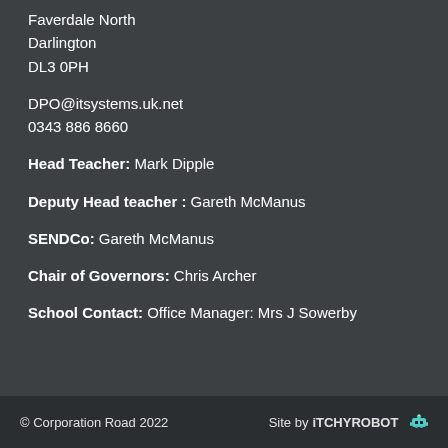Faverdale North
Darlington
DL3 0PH
DPO@itsystems.uk.net
0343 886 8660
Head Teacher: Mark Dipple
Deputy Head teacher : Gareth McManus
SENDCo: Gareth McManus
Chair of Governors: Chris Archer
School Contact: Office Manager: Mrs J Sowerby
© Corporation Road 2022    Site by iTCHYROBOT